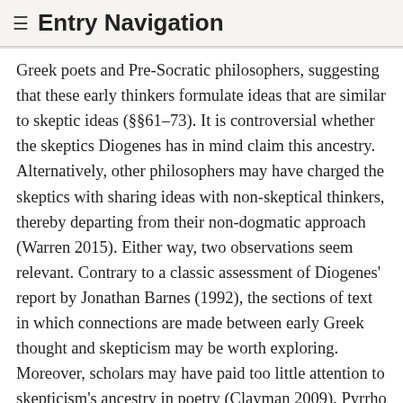≡ Entry Navigation
Greek poets and Pre-Socratic philosophers, suggesting that these early thinkers formulate ideas that are similar to skeptic ideas (§§61–73). It is controversial whether the skeptics Diogenes has in mind claim this ancestry. Alternatively, other philosophers may have charged the skeptics with sharing ideas with non-skeptical thinkers, thereby departing from their non-dogmatic approach (Warren 2015). Either way, two observations seem relevant. Contrary to a classic assessment of Diogenes' report by Jonathan Barnes (1992), the sections of text in which connections are made between early Greek thought and skepticism may be worth exploring. Moreover, scholars may have paid too little attention to skepticism's ancestry in poetry (Clayman 2009). Pyrrho seems to have referred to Homer as a proponent of ideas he approves of, ideas about change, the status of human rationality and language, and more.
2.2 Plato